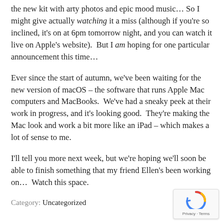the new kit with arty photos and epic mood music… So I might give actually watching it a miss (although if you're so inclined, it's on at 6pm tomorrow night, and you can watch it live on Apple's website).  But I am hoping for one particular announcement this time…
Ever since the start of autumn, we've been waiting for the new version of macOS – the software that runs Apple Mac computers and MacBooks.  We've had a sneaky peek at their work in progress, and it's looking good.  They're making the Mac look and work a bit more like an iPad – which makes a lot of sense to me.
I'll tell you more next week, but we're hoping we'll soon be able to finish something that my friend Ellen's been working on…  Watch this space.
Category: Uncategorized